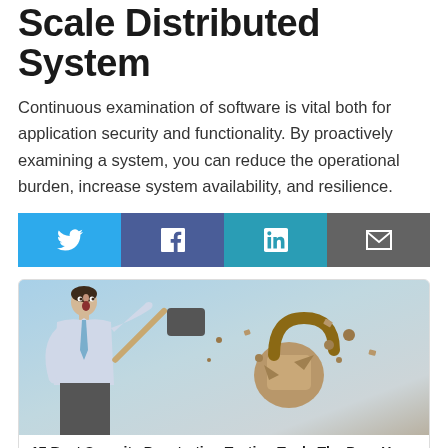Scale Distributed System
Continuous examination of software is vital both for application security and functionality. By proactively examining a system, you can reduce the operational burden, increase system availability, and resilience.
[Figure (infographic): Four social sharing buttons: Twitter (light blue), Facebook (dark blue), LinkedIn (teal), Email (gray)]
[Figure (photo): A man in a business shirt and tie swinging a sledgehammer at a large padlock, which is shattering into pieces. Background is light blue sky.]
17 Best Security Penetration Testing Tools The Pros Use
Data Protection, DevOps, Security Strategy